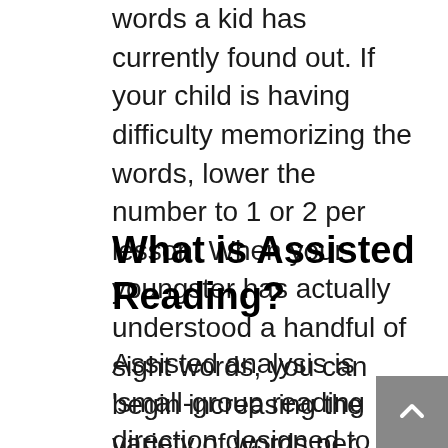words a kid has currently found out. If your child is having difficulty memorizing the words, lower the number to 1 or 2 per lesson. When your youngster has actually understood a handful of sight words, you can begin increasing the variety of words per lesson.
What is Assisted Reading?
Assisted analysis is 'small-group reading direction designed to offer set apart training that sustains students in establishing analysis efficiency. The little team design enables students to be educated in a way that is planned to be